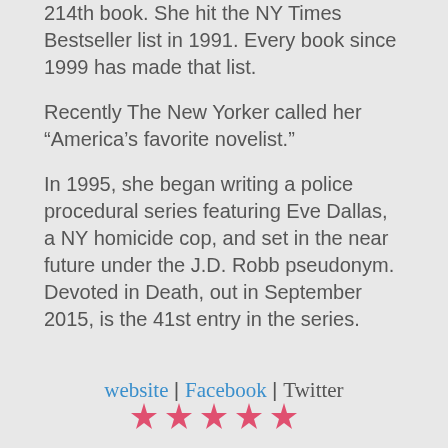214th book. She hit the NY Times Bestseller list in 1991. Every book since 1999 has made that list.
Recently The New Yorker called her “America’s favorite novelist.”
In 1995, she began writing a police procedural series featuring Eve Dallas, a NY homicide cop, and set in the near future under the J.D. Robb pseudonym. Devoted in Death, out in September 2015, is the 41st entry in the series.
website | Facebook | Twitter
[Figure (other): Partial row of red/pink star rating icons at the bottom of the page]